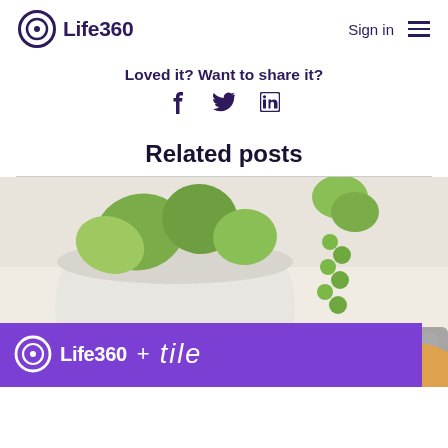Life360
Loved it? Want to share it?
Related posts
[Figure (photo): Photo of a succulent plant in a white pot on a marble counter, with a purple banner overlay showing the Life360 + tile logo lockup]